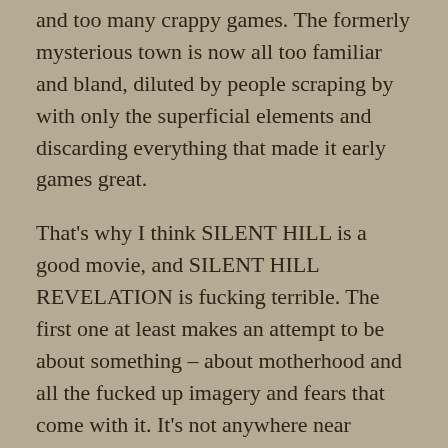and too many crappy games. The formerly mysterious town is now all too familiar and bland, diluted by people scraping by with only the superficial elements and discarding everything that made it early games great.
That's why I think SILENT HILL is a good movie, and SILENT HILL REVELATION is fucking terrible. The first one at least makes an attempt to be about something – about motherhood and all the fucked up imagery and fears that come with it. It's not anywhere near perfect, but it is stylish and makes a genuine effort. The second movie is pure superficial gloss, and not even executed in any interesting or suspenseful way. Completely missed the...